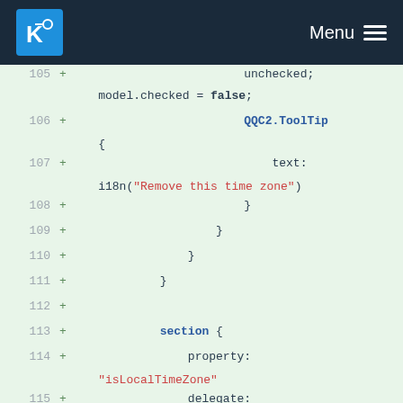KDE Menu
105 + unchecked;
    model.checked = false;
106 +                         QQC2.ToolTip {
107 +                             text: i18n("Remove this time zone")
108 +                         }
109 +                     }
110 +                 }
111 +             }
112 +
113 +             section {
114 +                 property: "isLocalTimeZone"
115 +                 delegate: Kirigami.ListSectionHeader {
116 +                     label: section == "true" ? i18n("System's Local Time Zone") : i18n("Additional Time Zones")
117 +                 }